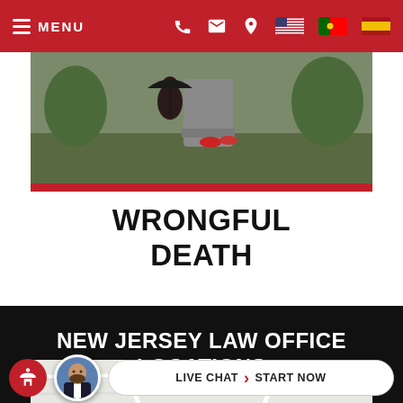MENU — navigation bar with phone, email, location, and flag icons
[Figure (photo): People at a gravesite in a cemetery, holding an umbrella, with flowers and a headstone visible]
WRONGFUL DEATH
NEW JERSEY LAW OFFICE LOCATIONS
[Figure (map): Partial street map showing road intersections]
LIVE CHAT  START NOW